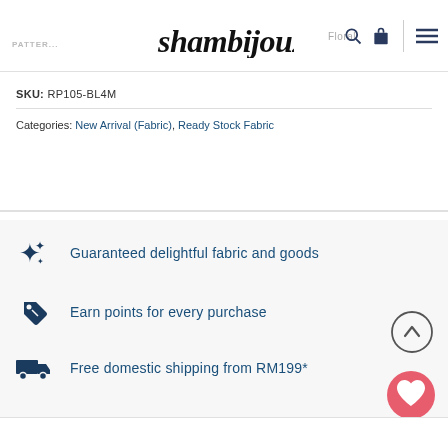PATTER... shambijoux Floral
SKU: RP105-BL4M
Categories: New Arrival (Fabric), Ready Stock Fabric
Guaranteed delightful fabric and goods
Earn points for every purchase
Free domestic shipping from RM199*